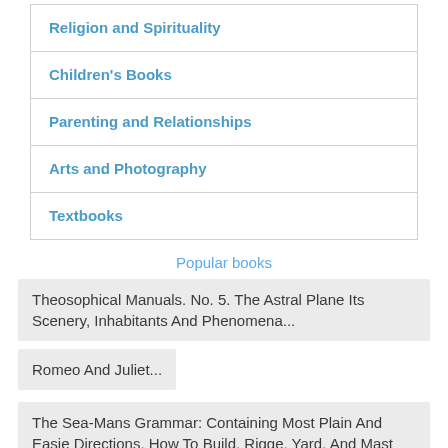Religion and Spirituality
Children's Books
Parenting and Relationships
Arts and Photography
Textbooks
Popular books
Theosophical Manuals. No. 5. The Astral Plane Its Scenery, Inhabitants And Phenomena...
Romeo And Juliet...
The Sea-Mans Grammar: Containing Most Plain And Easie Directions, How To Build, Rigge, Yard, And Mast Any Ship